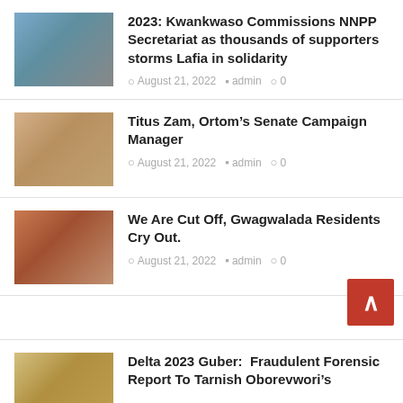[Figure (photo): Thumbnail image of Kwankwaso commissioning NNPP Secretariat event]
2023: Kwankwaso Commissions NNPP Secretariat as thousands of supporters storms Lafia in solidarity
August 21, 2022  admin  0
[Figure (photo): Thumbnail image of Titus Zam, Ortom's Senate Campaign Manager]
Titus Zam, Ortom’s Senate Campaign Manager
August 21, 2022  admin  0
[Figure (photo): Thumbnail image related to Gwagwalada residents cut off story]
We Are Cut Off, Gwagwalada Residents Cry Out.
August 21, 2022  admin  0
[Figure (photo): Thumbnail image of Delta 2023 Guber story about Oborevwori]
Delta 2023 Guber:  Fraudulent Forensic Report To Tarnish Oborevwori’s